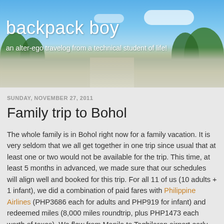[Figure (photo): Blog header banner showing a road disappearing into the distance with blue sky, white clouds, and green trees on either side]
backpack boy
an alter-ego travelog from a technical student of life!
SUNDAY, NOVEMBER 27, 2011
Family trip to Bohol
The whole family is in Bohol right now for a family vacation. It is very seldom that we all get together in one trip since usual that at least one or two would not be available for the trip. This time, at least 5 months in advanced, we made sure that our schedules will align well and booked for this trip. For all 11 of us (10 adults + 1 infant), we did a combination of paid fares with Philippine Airlines (PHP3686 each for adults and PHP919 for infant) and redeemed miles (8,000 miles roundtrip, plus PHP1473 each worth of taxes). We flew from Manila to Tagbilaran airport early this morning.